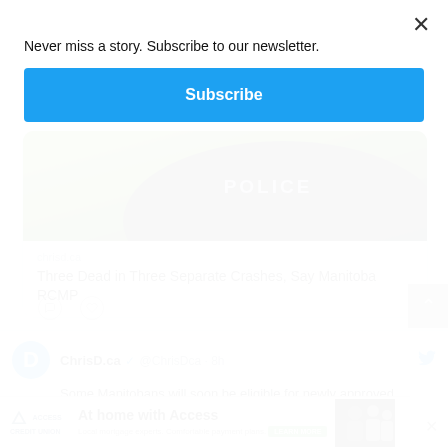Never miss a story. Subscribe to our newsletter.
Subscribe
[Figure (photo): Police officer wearing a green high-visibility vest with a POLICE badge/patch visible]
chrisd.ca
Three Dead in Three Separate Crashes, Say Manitoba RCMP
ChrisD.ca @ChrisDca · 8h
Some Manitobans will soon be eligible for newly approved COVID-19 vaccine
[Figure (photo): Access Credit Union advertisement banner: At home with Access. Local mortgage experts. Comfortable payment plans. Learn More. Shows a family photo.]